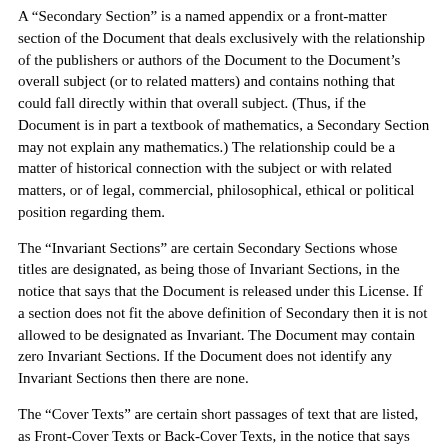A "Secondary Section" is a named appendix or a front-matter section of the Document that deals exclusively with the relationship of the publishers or authors of the Document to the Document's overall subject (or to related matters) and contains nothing that could fall directly within that overall subject. (Thus, if the Document is in part a textbook of mathematics, a Secondary Section may not explain any mathematics.) The relationship could be a matter of historical connection with the subject or with related matters, or of legal, commercial, philosophical, ethical or political position regarding them.
The "Invariant Sections" are certain Secondary Sections whose titles are designated, as being those of Invariant Sections, in the notice that says that the Document is released under this License. If a section does not fit the above definition of Secondary then it is not allowed to be designated as Invariant. The Document may contain zero Invariant Sections. If the Document does not identify any Invariant Sections then there are none.
The "Cover Texts" are certain short passages of text that are listed, as Front-Cover Texts or Back-Cover Texts, in the notice that says that the Document is released under this License. A Front-Cover Text may be at most 5 words, and a Back-Cover Text may be at most 25 words.
A "Transparent" copy of the Document means a machine-readable